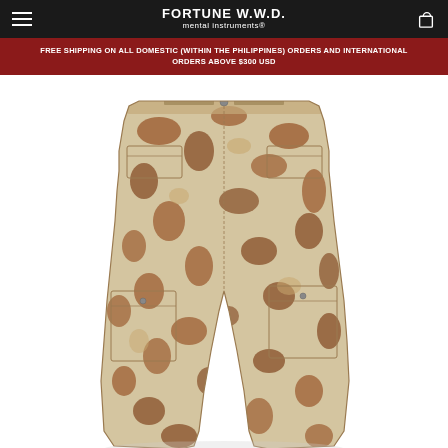FORTUNE W.W.D. mental instruments®
FREE SHIPPING ON ALL DOMESTIC (WITHIN THE PHILIPPINES) ORDERS AND INTERNATIONAL ORDERS ABOVE $300 USD
[Figure (photo): Camouflage cargo pants with brown and beige duck hunter camo pattern, multiple pockets including large side cargo pockets, worn flat lay on white background]